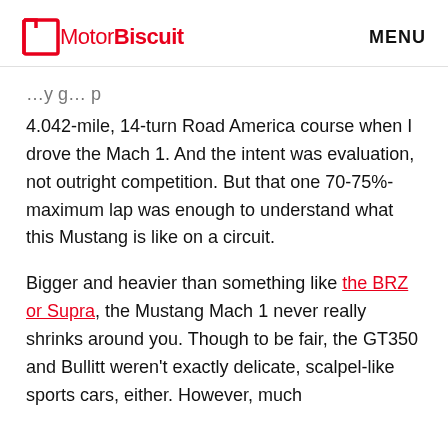MotorBiscuit   MENU
4.042-mile, 14-turn Road America course when I drove the Mach 1. And the intent was evaluation, not outright competition. But that one 70-75%-maximum lap was enough to understand what this Mustang is like on a circuit.
Bigger and heavier than something like the BRZ or Supra, the Mustang Mach 1 never really shrinks around you. Though to be fair, the GT350 and Bullitt weren't exactly delicate, scalpel-like sports cars, either. However, much